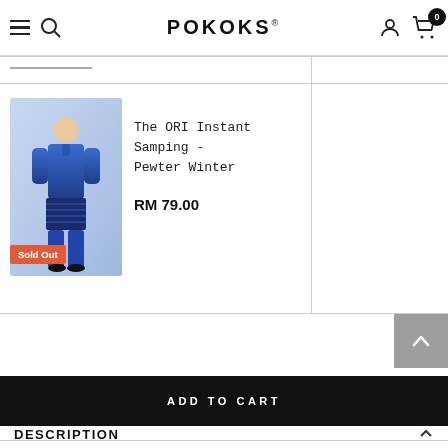POKOKS
[Figure (photo): A blue traditional outfit (baju melayu with samping) displayed on a person, with a 'Sold Out' badge overlay. Product: The ORI Instant Samping - Pewter Winter.]
The ORI Instant Samping - Pewter Winter
RM 79.00
ADD TO CART
DESCRIPTION